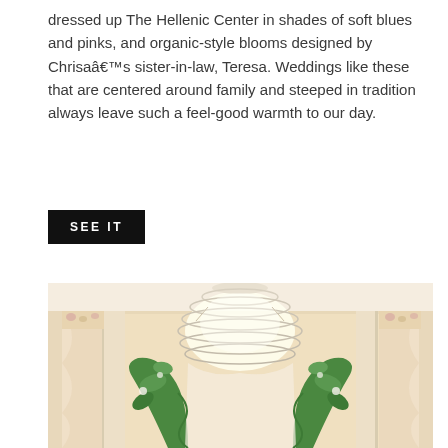dressed up The Hellenic Center in shades of soft blues and pinks, and organic-style blooms designed by Chrisa’s sister-in-law, Teresa. Weddings like these that are centered around family and steeped in tradition always leave such a feel-good warmth to our day.
SEE IT
[Figure (photo): Interior of The Hellenic Center showing an elegant ballroom with a large crystal chandelier hanging from the ceiling, cream/peach walls with white columns, floral-patterned draped curtains on the sides, and a lush green floral arch/altar arrangement in the center foreground. A second image at the bottom shows a blurred white floral arrangement.]